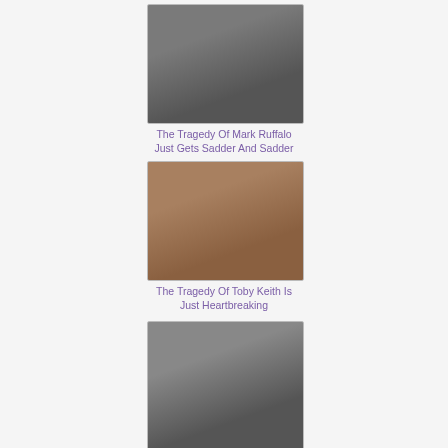[Figure (photo): Headshot photo of Mark Ruffalo]
[Figure (photo): Headshot photo of Toby Keith]
The Tragedy Of Mark Ruffalo Just Gets Sadder And Sadder
The Tragedy Of Toby Keith Is Just Heartbreaking
[Figure (photo): Headshot photo of Henry Cavill]
[Figure (photo): Headshot photo of Alexandra Daddario]
It's Clearly No Secret That Henry Cavill Is A Terrible Dude
Alexandra Daddario's Transformation Is Beyond Staggering
ENTERTAINMENT
[Figure (photo): Thumbnail photo of Brad Pitt and Leonardo DiCaprio at Cannes 2019]
Brad Pitt Leonardo DiCaprio Rock Cannes 2019